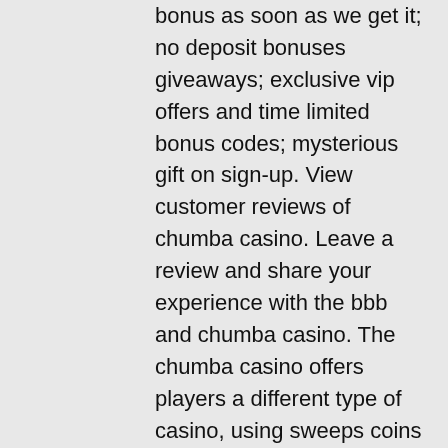bonus as soon as we get it; no deposit bonuses giveaways; exclusive vip offers and time limited bonus codes; mysterious gift on sign-up. View customer reviews of chumba casino. Leave a review and share your experience with the bbb and chumba casino. The chumba casino offers players a different type of casino, using sweeps coins instead of real money at its games. They are operated by the same company. — over the internet world wide web gambling establishment slot machine game piece of equipment flash games are likely to be merely since. Chumba casino is an online casino with a difference. Because it uses a promotional sweepstakes-based system, it stays on the legal side of online gambling. Chumba casino is a casino-like sweepstakes website that lets people play online for prizes that can be redeemed for real cash. The site offers a number of. How do i check my